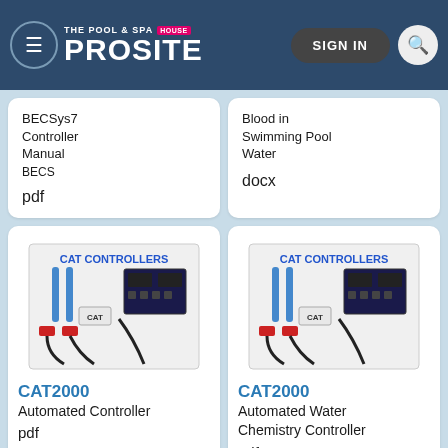THE POOL & SPA HOUSE | PROSITE | SIGN IN
BECSys7 Controller Manual
BECS
pdf
Blood in Swimming Pool Water
docx
[Figure (photo): CAT CONTROLLERS CAT2000 device photo showing automated controller with sensors and cables]
CAT2000
Automated Controller
pdf
[Figure (photo): CAT CONTROLLERS CAT2000 device photo showing automated water chemistry controller with sensors and cables]
CAT2000
Automated Water Chemistry Controller
pdf